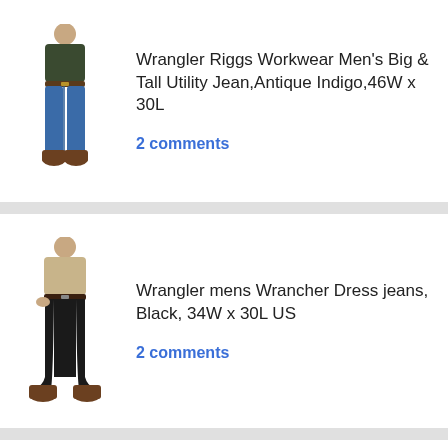[Figure (photo): Man wearing blue denim jeans and dark green shirt with brown boots, standing pose, product photo of Wrangler Riggs Workwear jeans]
Wrangler Riggs Workwear Men's Big & Tall Utility Jean,Antique Indigo,46W x 30L
2 comments
[Figure (photo): Man wearing black dress jeans with beige shirt and brown boots, standing pose, product photo of Wrangler Wrancher Dress jeans]
Wrangler mens Wrancher Dress jeans, Black, 34W x 30L US
2 comments
[Figure (photo): Man wearing dark slim fit jeans with grey shirt, partial view, product photo of Levi's 511 Slim Fit Jean]
Levi's Men's 511 Slim Fit Jean, Dark Hollow - Stretch, 34W x 32L